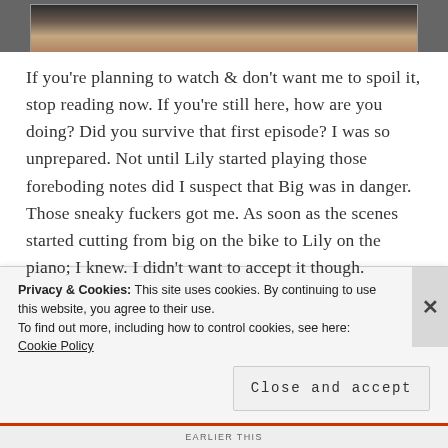[Figure (photo): Partial photo strip at the top of the page showing a cropped image of people, mostly cut off]
If you're planning to watch & don't want me to spoil it, stop reading now. If you're still here, how are you doing? Did you survive that first episode? I was so unprepared. Not until Lily started playing those foreboding notes did I suspect that Big was in danger. Those sneaky fuckers got me. As soon as the scenes started cutting from big on the bike to Lily on the piano; I knew. I didn't want to accept it though.
Privacy & Cookies: This site uses cookies. By continuing to use this website, you agree to their use.
To find out more, including how to control cookies, see here: Cookie Policy
Close and accept